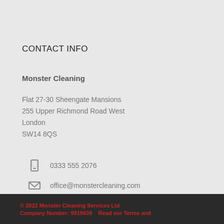CONTACT INFO
Monster Cleaning
Flat 27-30 Sheengate Mansions
255 Upper Richmond Road West
London
SW14 8QS
0333 555 2076
office@monstercleaning.com
© 2022 Monster Cleaning Services Ltd
Company Number: 9919639    Read our Terms and